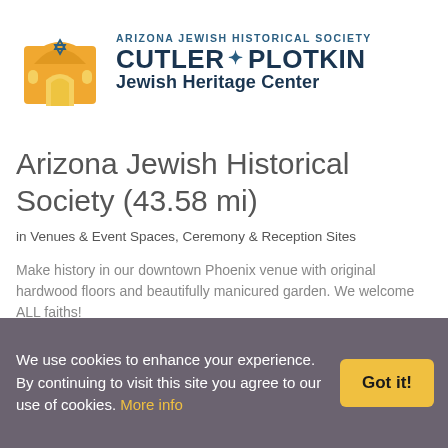[Figure (logo): Arizona Jewish Historical Society Cutler-Plotkin Jewish Heritage Center logo with a golden building/synagogue icon and Star of David, alongside styled organization name text]
Arizona Jewish Historical Society (43.58 mi)
in Venues & Event Spaces, Ceremony & Reception Sites
Make history in our downtown Phoenix venue with original hardwood floors and beautifully manicured garden. We welcome ALL faiths!
We use cookies to enhance your experience. By continuing to visit this site you agree to our use of cookies. More info